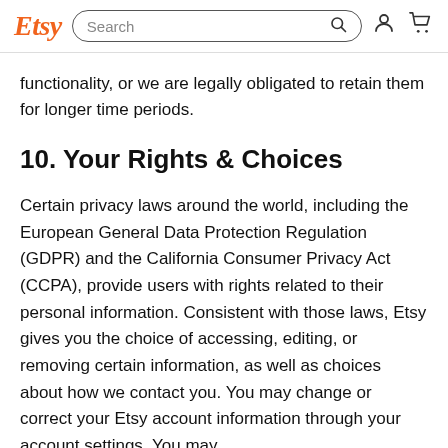Etsy [Search bar] [user icon] [cart icon]
functionality, or we are legally obligated to retain them for longer time periods.
10. Your Rights & Choices
Certain privacy laws around the world, including the European General Data Protection Regulation (GDPR) and the California Consumer Privacy Act (CCPA), provide users with rights related to their personal information. Consistent with those laws, Etsy gives you the choice of accessing, editing, or removing certain information, as well as choices about how we contact you. You may change or correct your Etsy account information through your account settings. You may